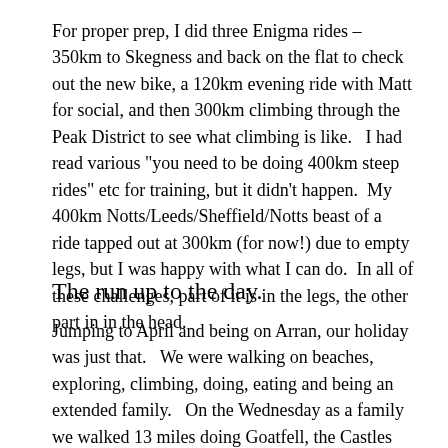For proper prep, I did three Enigma rides – 350km to Skegness and back on the flat to check out the new bike, a 120km evening ride with Matt for social, and then 300km climbing through the Peak District to see what climbing is like.   I had read various "you need to be doing 400km steep rides" etc for training, but it didn't happen.  My 400km Notts/Leeds/Sheffield/Notts beast of a ride tapped out at 300km (for now!) due to empty legs, but I was happy with what I can do.  In all of these challenges, part of it is in the legs, the other part in in the head.
The run up to the day.
Jumping to April and being on Arran, our holiday was just that.  We were walking on beaches, exploring, climbing, doing, eating and being an extended family.   On the Wednesday as a family we walked 13 miles doing Goatfell, the Castles and Glen Rosa.  Screw my Everesting, my